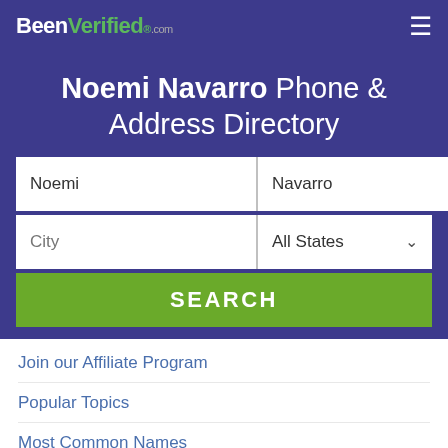BeenVerified.com
Noemi Navarro Phone & Address Directory
Noemi | Navarro | City | All States | SEARCH
Join our Affiliate Program
Popular Topics
Most Common Names